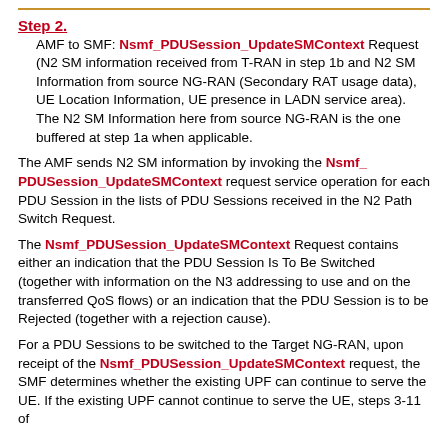Step 2.
AMF to SMF: Nsmf_PDUSession_UpdateSMContext Request (N2 SM information received from T-RAN in step 1b and N2 SM Information from source NG-RAN (Secondary RAT usage data), UE Location Information, UE presence in LADN service area). The N2 SM Information here from source NG-RAN is the one buffered at step 1a when applicable.
The AMF sends N2 SM information by invoking the Nsmf_PDUSession_UpdateSMContext request service operation for each PDU Session in the lists of PDU Sessions received in the N2 Path Switch Request.
The Nsmf_PDUSession_UpdateSMContext Request contains either an indication that the PDU Session Is To Be Switched (together with information on the N3 addressing to use and on the transferred QoS flows) or an indication that the PDU Session is to be Rejected (together with a rejection cause).
For a PDU Sessions to be switched to the Target NG-RAN, upon receipt of the Nsmf_PDUSession_UpdateSMContext request, the SMF determines whether the existing UPF can continue to serve the UE. If the existing UPF cannot continue to serve the UE, steps 3-11 of